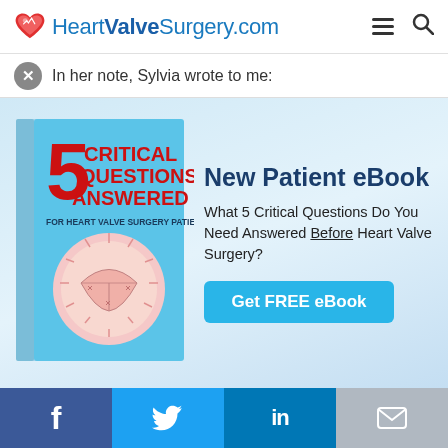HeartValveSurgery.com
In her note, Sylvia wrote to me:
[Figure (illustration): eBook cover titled '5 Critical Questions Answered For Heart Valve Surgery Patients' with a heart valve illustration on a blue book]
New Patient eBook
What 5 Critical Questions Do You Need Answered Before Heart Valve Surgery?
Get FREE eBook
f  Twitter  in  Email